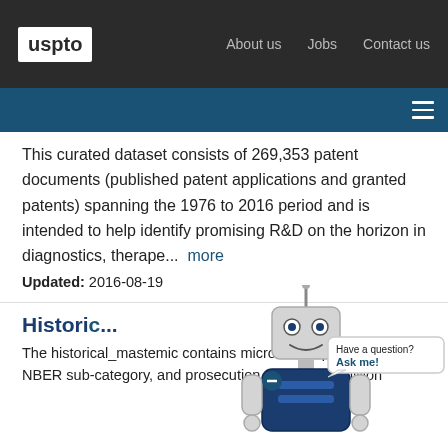uspto | About us | Jobs | Contact us
This curated dataset consists of 269,353 patent documents (published patent applications and granted patents) spanning the 1976 to 2016 period and is intended to help identify promising R&D on the horizon in diagnostics, therape... more
Updated: 2016-08-19
Download (18.8 MB)
Dates Available   Aug 17, 2016 – Aug 19, 2016
Historical...
The historical_mastemic contains micro level application, NBER sub-category, and prosecution data on 2.2 million
[Figure (illustration): Robot chatbot mascot with a chat bubble saying 'Have a question? Ask me!']